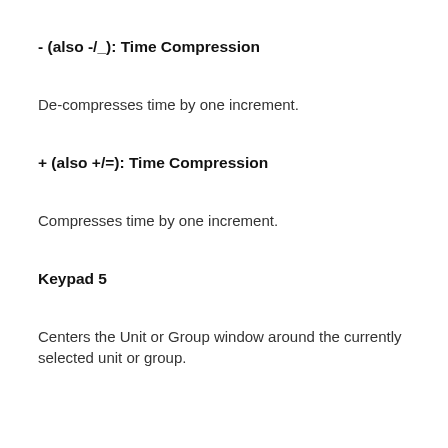- (also -/_): Time Compression
De-compresses time by one increment.
+ (also +/=): Time Compression
Compresses time by one increment.
Keypad 5
Centers the Unit or Group window around the currently selected unit or group.